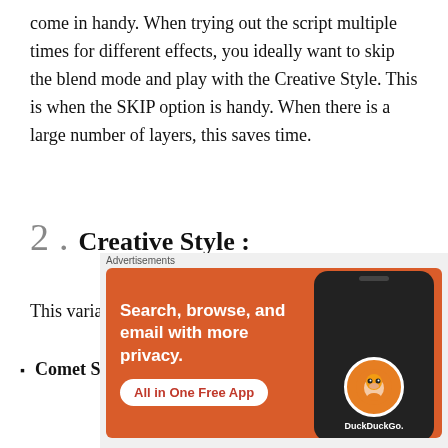come in handy. When trying out the script multiple times for different effects, you ideally want to skip the blend mode and play with the Creative Style. This is when the SKIP option is handy. When there is a large number of layers, this saves time.
2. Creative Style :
This variable drives the pre-defined style.
Comet Style [left to right, right to left] : This is the
[Figure (infographic): DuckDuckGo advertisement banner with orange background, text 'Search, browse, and email with more privacy. All in One Free App' with phone graphic and DuckDuckGo logo. Labeled 'Advertisements'.]